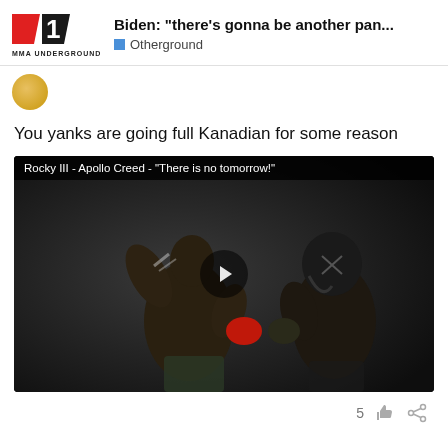Biden: “there’s gonna be another pan...
Otherground
You yanks are going full Kanadian for some reason
[Figure (screenshot): YouTube-style video thumbnail showing two boxers sparring from Rocky III with title bar 'Rocky III - Apollo Creed - "There is no tomorrow!"' and a play button overlay]
5